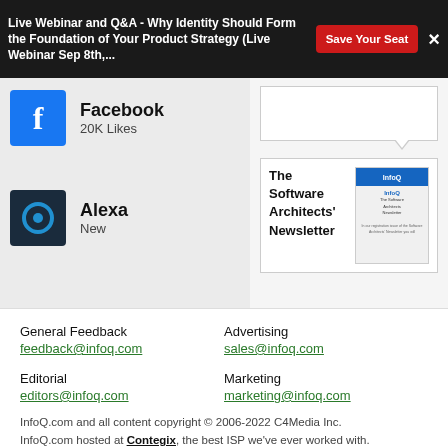Live Webinar and Q&A - Why Identity Should Form the Foundation of Your Product Strategy (Live Webinar Sep 8th,...
[Figure (logo): Facebook logo icon (blue square with white F)]
Facebook
20K Likes
[Figure (logo): Alexa logo icon (dark square with blue circle)]
Alexa
New
[Figure (screenshot): The Software Architects' Newsletter promotional image showing InfoQ newsletter cover]
General Feedback
feedback@infoq.com
Advertising
sales@infoq.com
Editorial
editors@infoq.com
Marketing
marketing@infoq.com
InfoQ.com and all content copyright © 2006-2022 C4Media Inc. InfoQ.com hosted at Contegix, the best ISP we've ever worked with.
Privacy Notice , Terms And Conditions , Cookie Policy